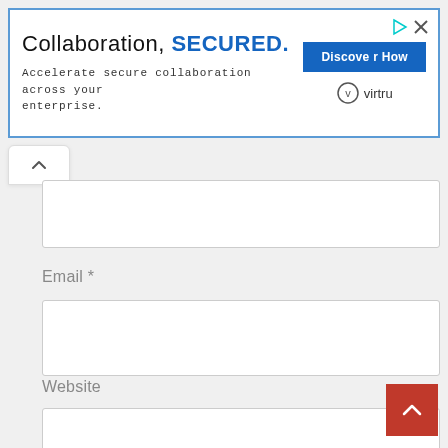[Figure (screenshot): Advertisement banner for Virtru. Headline: 'Collaboration, SECURED.' Subtext: 'Accelerate secure collaboration across your enterprise.' Button: 'Discover How'. Logo: Virtru. Icons for play and close in top right corner.]
Email *
Website